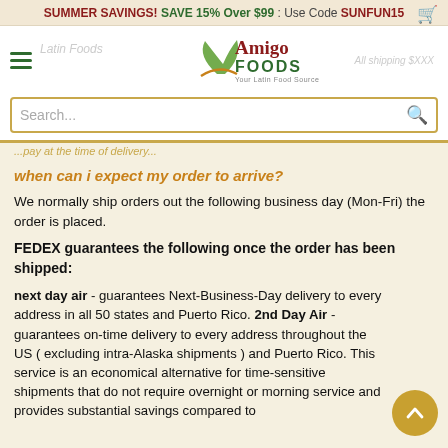SUMMER SAVINGS! SAVE 15% Over $99 : Use Code SUNFUN15
[Figure (logo): Amigo Foods - Your Latin Food Source logo with green leaf/swoosh graphic]
Search...
partially visible text line
when can i expect my order to arrive?
We normally ship orders out the following business day (Mon-Fri) the order is placed.
FEDEX guarantees the following once the order has been shipped:
next day air - guarantees Next-Business-Day delivery to every address in all 50 states and Puerto Rico. 2nd Day Air - guarantees on-time delivery to every address throughout the US ( excluding intra-Alaska shipments ) and Puerto Rico. This service is an economical alternative for time-sensitive shipments that do not require overnight or morning service and provides substantial savings compared to the cost of overnight or morning service. 2 Day Select - the...